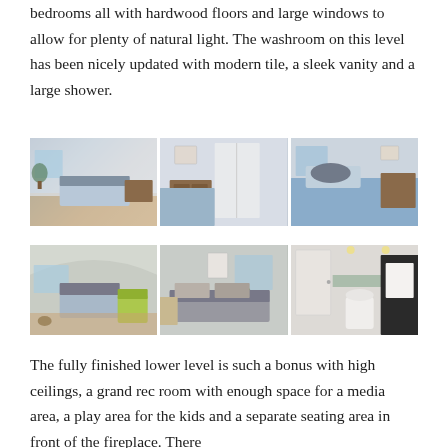bedrooms all with hardwood floors and large windows to allow for plenty of natural light. The washroom on this level has been nicely updated with modern tile, a sleek vanity and a large shower.
[Figure (photo): Three side-by-side photos of a bedroom with hardwood floors, large windows, blue bedding, and a wooden dresser]
[Figure (photo): Three side-by-side photos showing a bedroom with yellow/green accent chair, a seating area, and a bathroom with toilet and dark cabinetry]
The fully finished lower level is such a bonus with high ceilings, a grand rec room with enough space for a media area, a play area for the kids and a separate seating area in front of the fireplace. There